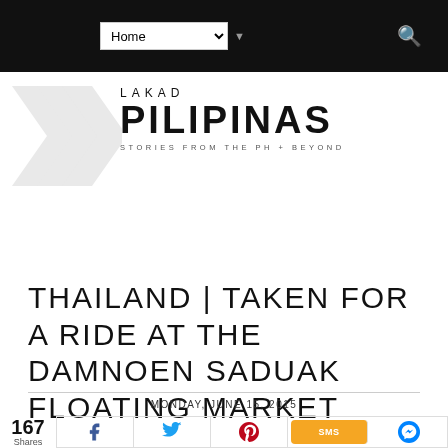Home [navigation dropdown] [search icon]
[Figure (logo): Lakad Pilipinas logo with chevron arrows graphic and tagline STORIES FROM THE PH + BEYOND]
THAILAND | TAKEN FOR A RIDE AT THE DAMNOEN SADUAK FLOATING MARKET
MONDAY, JUNE 15, 2015
167 Shares — Facebook, Twitter, Pinterest, SMS, Messenger share buttons